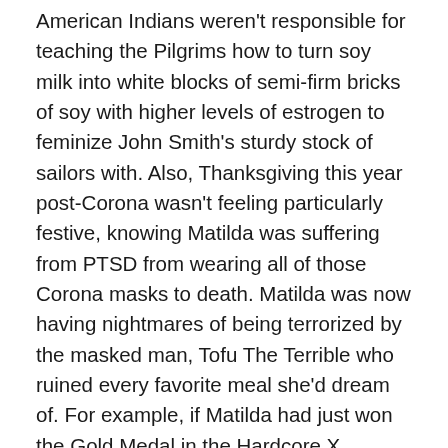American Indians weren't responsible for teaching the Pilgrims how to turn soy milk into white blocks of semi-firm bricks of soy with higher levels of estrogen to feminize John Smith's sturdy stock of sailors with. Also, Thanksgiving this year post-Corona wasn't feeling particularly festive, knowing Matilda was suffering from PTSD from wearing all of those Corona masks to death. Matilda was now having nightmares of being terrorized by the masked man, Tofu The Terrible who ruined every favorite meal she'd dream of. For example, if Matilda had just won the Gold Medal in the Hardcore X Games for Equestrian Riders within the Under 10 Years age bracket, having to complete jumps through rings of fire with an occasional baby dragon on her tail. She'd normally celebrate with her best friend Shannon in her dream over their favorite treat Jellybeans for a sleepover party soon after. But now all that appeared in